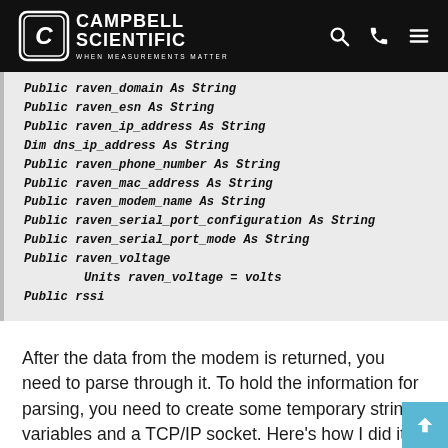Campbell Scientific — When Measurements Matter
Public raven_domain As String
Public raven_esn As String
Public raven_ip_address As String
Dim dns_ip_address As String
Public raven_phone_number As String
Public raven_mac_address As String
Public raven_modem_name As String
Public raven_serial_port_configuration As String
Public raven_serial_port_mode As String
Public raven_voltage
    Units raven_voltage = volts
Public rssi
After the data from the modem is returned, you need to parse through it. To hold the information for parsing, you need to create some temporary string variables and a TCP/IP socket. Here's how I did it: